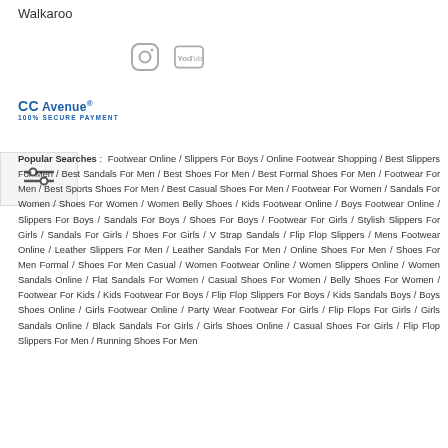Walkaroo
[Figure (logo): Instagram and YouTube social media icons]
[Figure (logo): CC Avenue 100% Secure Payment logo]
[Figure (other): Filter/settings icon]
Popular Searches: Footwear Online / Slippers For Boys / Online Footwear Shopping / Best Slippers For Men / Best Sandals For Men / Best Shoes For Men / Best Formal Shoes For Men / Footwear For Men / Best Sports Shoes For Men / Best Casual Shoes For Men / Footwear For Women / Sandals For Women / Shoes For Women / Women Belly Shoes / Kids Footwear Online / Boys Footwear Online / Slippers For Boys / Sandals For Boys / Shoes For Boys / Footwear For Girls / Stylish Slippers For Girls / Sandals For Girls / Shoes For Girls / V Strap Sandals / Flip Flop Slippers / Mens Footwear Online / Leather Slippers For Men / Leather Sandals For Men / Online Shoes For Men / Shoes For Men Formal / Shoes For Men Casual / Women Footwear Online / Women Slippers Online / Women Sandals Online / Flat Sandals For Women / Casual Shoes For Women / Belly Shoes For Women / Footwear For Kids / Kids Footwear For Boys / Flip Flop Slippers For Boys / Kids Sandals Boys / Boys Shoes Online / Girls Footwear Online / Party Wear Footwear For Girls / Flip Flops For Girls / Girls Sandals Online / Black Sandals For Girls / Girls Shoes Online / Casual Shoes For Girls / Flip Flop Slippers For Men / Running Shoes For Men